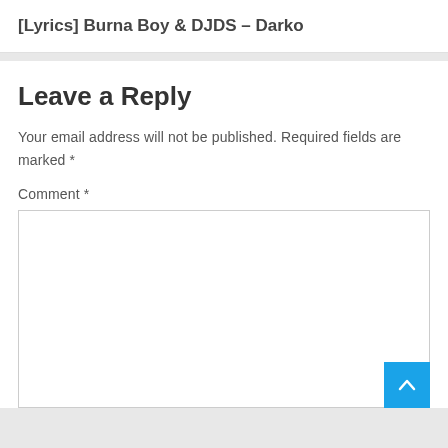[Lyrics] Burna Boy & DJDS – Darko
Leave a Reply
Your email address will not be published. Required fields are marked *
Comment *